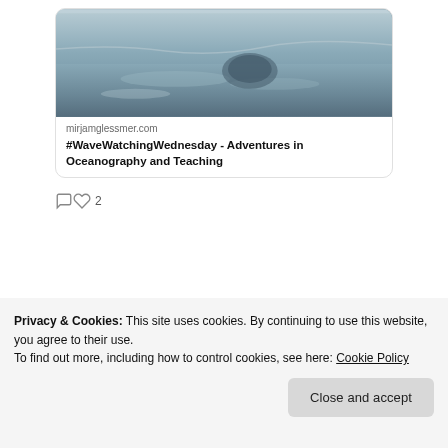[Figure (screenshot): Screenshot of a tweet card showing a link preview with an ocean/wave image and link to mirjamglessmer.com with title '#WaveWatchingWednesday - Adventures in Oceanography and Teaching']
mirjamglessmer.com
#WaveWatchingWednesday - Adventures in Oceanography and Teaching
2 likes
View more on Twitter
Privacy & Cookies: This site uses cookies. By continuing to use this website, you agree to their use.
To find out more, including how to control cookies, see here: Cookie Policy
Close and accept
#SciCommChall 24DaysOfKitchenOceanography active learning